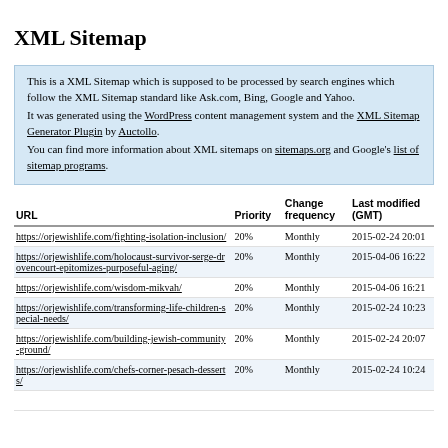XML Sitemap
This is a XML Sitemap which is supposed to be processed by search engines which follow the XML Sitemap standard like Ask.com, Bing, Google and Yahoo.
It was generated using the WordPress content management system and the XML Sitemap Generator Plugin by Auctollo.
You can find more information about XML sitemaps on sitemaps.org and Google's list of sitemap programs.
| URL | Priority | Change frequency | Last modified (GMT) |
| --- | --- | --- | --- |
| https://orjewishlife.com/fighting-isolation-inclusion/ | 20% | Monthly | 2015-02-24 20:01 |
| https://orjewishlife.com/holocaust-survivor-serge-drovencourt-epitomizes-purposeful-aging/ | 20% | Monthly | 2015-04-06 16:22 |
| https://orjewishlife.com/wisdom-mikvah/ | 20% | Monthly | 2015-04-06 16:21 |
| https://orjewishlife.com/transforming-life-children-special-needs/ | 20% | Monthly | 2015-02-24 10:23 |
| https://orjewishlife.com/building-jewish-community-ground/ | 20% | Monthly | 2015-02-24 20:07 |
| https://orjewishlife.com/chefs-corner-pesach-desserts/ | 20% | Monthly | 2015-02-24 10:24 |